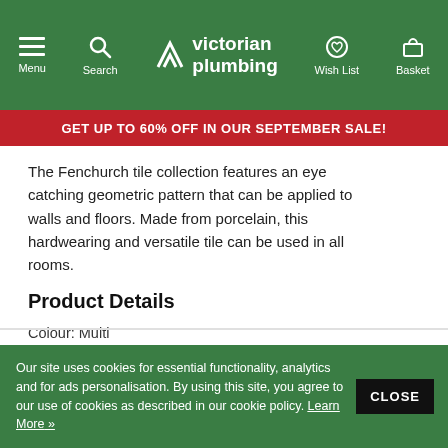Victorian Plumbing — Menu, Search, Wish List, Basket
GET UP TO 60% OFF IN OUR SEPTEMBER SALE!
The Fenchurch tile collection features an eye catching geometric pattern that can be applied to walls and floors. Made from porcelain, this hardwearing and versatile tile can be used in all rooms.
Product Details
Colour: Multi
Material: Porcelain
Finish: Matt
Tile Size: 220 x 220mm
Thickness: 11mm
Suitability: Wall & Floor
Tiles Per Box: 20
m2 Per Box: 1
Our site uses cookies for essential functionality, analytics and for ads personalisation. By using this site, you agree to our use of cookies as described in our cookie policy. Learn More » CLOSE